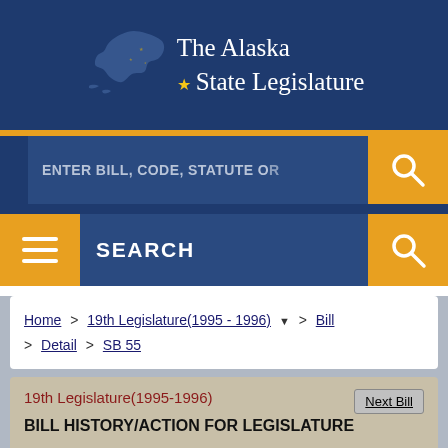[Figure (logo): The Alaska State Legislature logo with Alaska state map silhouette and gold star, white text on dark blue background]
ENTER BILL, CODE, STATUTE O
SEARCH
Home > 19th Legislature(1995 - 1996) > Bill > Detail > SB 55
19th Legislature(1995-1996)
BILL HISTORY/ACTION FOR LEGISLATURE
Next Bill
BILL    SB 55